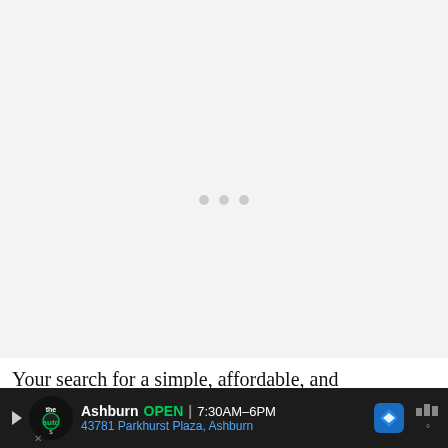ADVERTISEMENT
[Figure (other): Advertisement placeholder area with light gray background and three loading dots in the center]
Your search for a simple, affordable, and lo...
[Figure (infographic): Bottom ad banner: The Auto logo circle, Ashburn OPEN 7:30AM-6PM | 43781 Parkhurst Plaza, Ashburn, navigation arrow icon, weather icon]